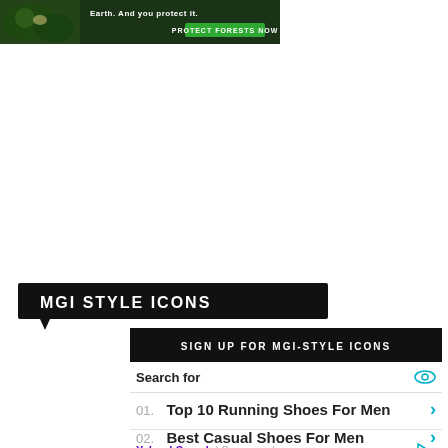[Figure (illustration): Forest conservation advertisement banner with dark green background, wildlife image, tagline text and green 'PROTECT FORESTS NOW' button]
[Figure (screenshot): MGI Style Icons black label with speech bubble pointing downward]
[Figure (screenshot): Sign up for MGI-Style Icons dark banner]
Search for
01. Top 10 Running Shoes For Men
02. Best Casual Shoes For Men
Yahoo! Search | Sponsored